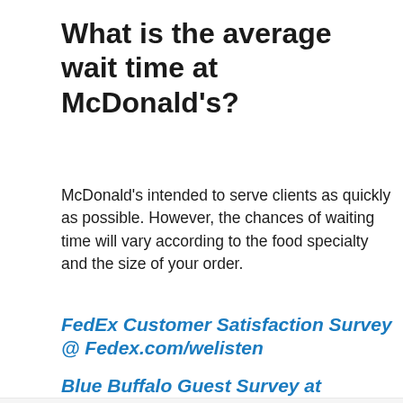What is the average wait time at McDonald's?
McDonald's intended to serve clients as quickly as possible. However, the chances of waiting time will vary according to the food specialty and the size of your order.
FedEx Customer Satisfaction Survey @ Fedex.com/welisten
Blue Buffalo Guest Survey at
Search for
1. ONLINE CUSTOMER SURVEY
2. CLIENT SATISFACTION SURVEYS